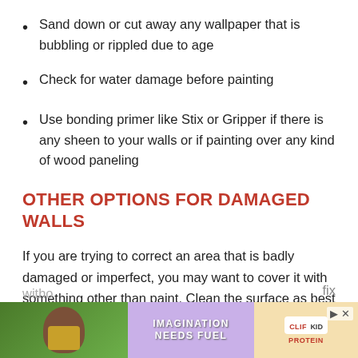Sand down or cut away any wallpaper that is bubbling or rippled due to age
Check for water damage before painting
Use bonding primer like Stix or Gripper if there is any sheen to your walls or if painting over any kind of wood paneling
OTHER OPTIONS FOR DAMAGED WALLS
If you are trying to correct an area that is badly damaged or imperfect, you may want to cover it with something other than paint. Clean the surface as best as you can and then consider covering with one of these
[Figure (photo): Advertisement banner showing a child with a snack bar, text reading IMAGINATION NEEDS FUEL, and CLIF KID protein bar branding]